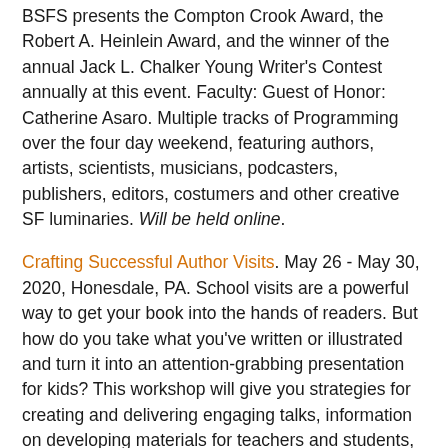BSFS presents the Compton Crook Award, the Robert A. Heinlein Award, and the winner of the annual Jack L. Chalker Young Writer's Contest annually at this event. Faculty: Guest of Honor: Catherine Asaro. Multiple tracks of Programming over the four day weekend, featuring authors, artists, scientists, musicians, podcasters, publishers, editors, costumers and other creative SF luminaries. Will be held online.
Crafting Successful Author Visits. May 26 - May 30, 2020, Honesdale, PA. School visits are a powerful way to get your book into the hands of readers. But how do you take what you've written or illustrated and turn it into an attention-grabbing presentation for kids? This workshop will give you strategies for creating and delivering engaging talks, information on developing materials for teachers and students, and guidelines for developing other promotional tools. May be canceled.
Nebula Conference. May 28th - 31st, 2020, Los Angeles, CA. SFWA members and other individuals who are interested in the field of science fiction and fantasy are